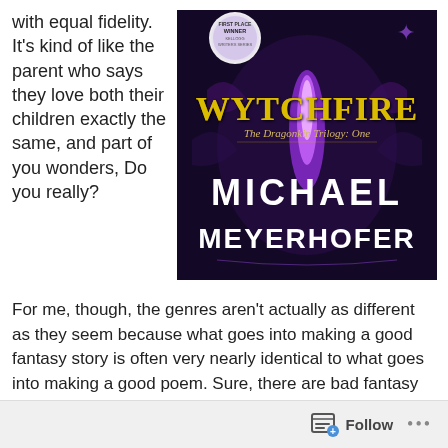with equal fidelity. It's kind of like the parent who says they love both their children exactly the same, and part of you wonders, Do you really?
[Figure (illustration): Book cover for 'Wytchfire: The Dragonkin Trilogy: One' by Michael Meyerhofer. Dark fantasy cover with purple magical flame, ornate letters in gold and white, and a 'First Place Winner Kellogg Writers Series' badge.]
For me, though, the genres aren't actually as different as they seem because what goes into making a good fantasy story is often very nearly identical to what goes into making a good poem. Sure, there are bad fantasy stories that have about as much depth as a dry lake, and bad poems that sound more like computer-generated Hallmark cards. But
Follow ...